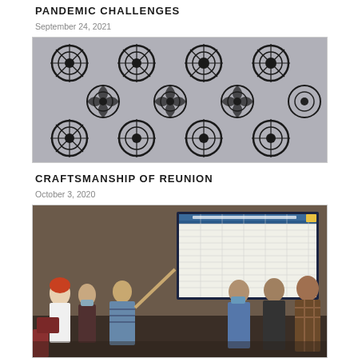PANDEMIC CHALLENGES
September 24, 2021
[Figure (photo): Close-up photograph of black and white patterned fabric or lace with circular and floral geometric designs]
CRAFTSMANSHIP OF REUNION
October 3, 2020
[Figure (photo): Group of people wearing masks standing in front of a large display screen showing a spreadsheet/data table in a conference room setting]